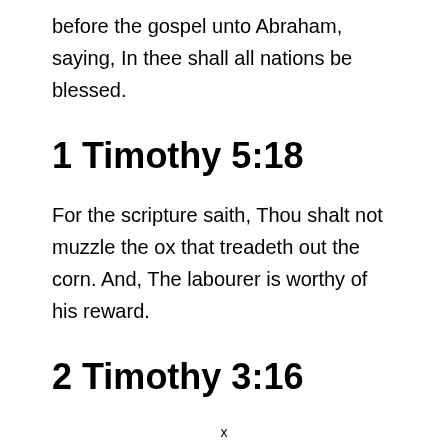before the gospel unto Abraham, saying, In thee shall all nations be blessed.
1 Timothy 5:18
For the scripture saith, Thou shalt not muzzle the ox that treadeth out the corn. And, The labourer is worthy of his reward.
2 Timothy 3:16
x